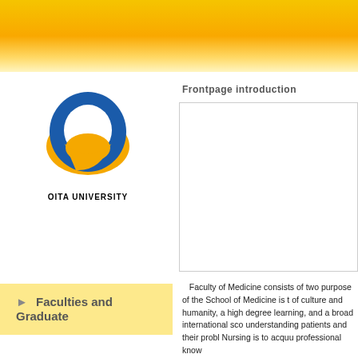[Figure (logo): Oita University logo — blue and gold stylized letter O with OITA UNIVERSITY text below]
▶ Faculties and Graduate
Frontpage introduction
[Figure (photo): Large white/blank content box placeholder for frontpage image]
Faculty of Medicine consists of two purpose of the School of Medicine is t of culture and humanity, a high degree learning, and a broad international sco understanding patients and their probl Nursing is to acquu professional know